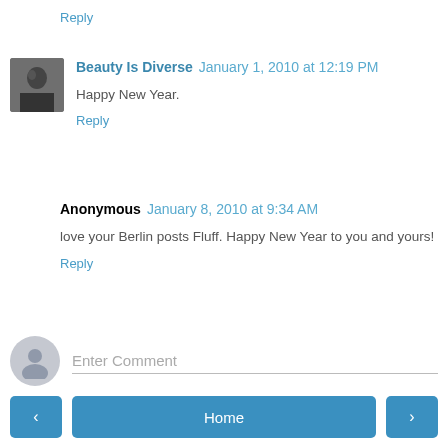Reply
Beauty Is Diverse  January 1, 2010 at 12:19 PM
Happy New Year.
Reply
Anonymous  January 8, 2010 at 9:34 AM
love your Berlin posts Fluff. Happy New Year to you and yours!
Reply
Enter Comment
< Home >